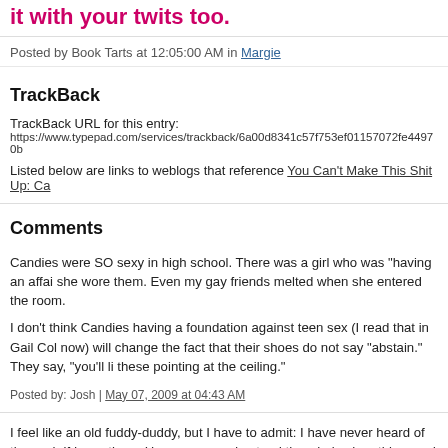it with your twits too.
Posted by Book Tarts at 12:05:00 AM in Margie
TrackBack
TrackBack URL for this entry:
https://www.typepad.com/services/trackback/6a00d8341c57f753ef01157072fe44970b
Listed below are links to weblogs that reference You Can't Make This Shit Up: Ca
Comments
Candies were SO sexy in high school. There was a girl who was "having an affair" she wore them. Even my gay friends melted when she entered the room.

I don't think Candies having a foundation against teen sex (I read that in Gail Col now) will change the fact that their shoes do not say "abstain." They say, "you'll li these pointing at the ceiling."
Posted by: Josh | May 07, 2009 at 04:43 AM
I feel like an old fuddy-duddy, but I have to admit: I have never heard of these sh if I saw them. Have never understood the whole shoe thing, and have yet to see sexy.